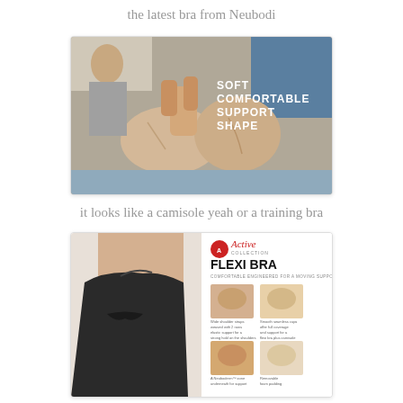the latest bra from Neubodi
[Figure (photo): A beige/nude bra being held up at what appears to be a product display. Text overlay reads: SOFT COMFORTABLE SUPPORT SHAPE. Watermark at bottom: PLUSSIZEKITTEN.COM]
it looks like a camisole yeah or a training bra
[Figure (photo): Advertisement for Active Collection FLEXI BRA - COMFORTABLE ENGINEERED FOR A MOVING SUPPORT. Shows a woman wearing a black bra on the left side, and product detail shots on the right showing straps and fabric features.]